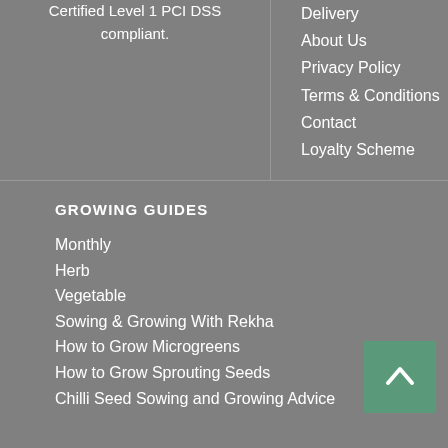Certified Level 1 PCI DSS compliant.
Delivery
About Us
Privacy Policy
Terms & Conditions
Contact
Loyalty Scheme
GROWING GUIDES
Monthly
Herb
Vegetable
Sowing & Growing With Rekha
How to Grow Microgreens
How to Grow Sprouting Seeds
Chilli Seed Sowing and Growing Advice